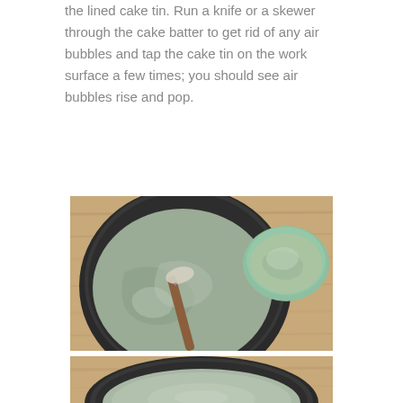the lined cake tin. Run a knife or a skewer through the cake batter to get rid of any air bubbles and tap the cake tin on the work surface a few times; you should see air bubbles rise and pop.
[Figure (photo): Top-down view of a dark round cake tin filled with pale green cake batter being spread with a wooden-handled spatula, next to a small mint-green bowl also containing green batter, all on a wooden surface.]
[Figure (photo): Top-down view of a dark round cake tin with smooth pale green batter filled to the brim, on a wooden surface, partially cropped at bottom of page.]